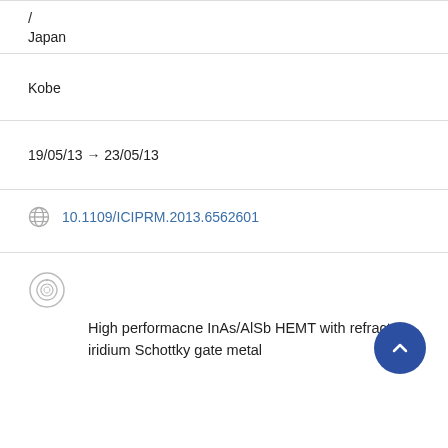/
Japan
Kobe
19/05/13 → 23/05/13
10.1109/ICIPRM.2013.6562601
High performacne InAs/AlSb HEMT with refractory iridium Schottky gate metal